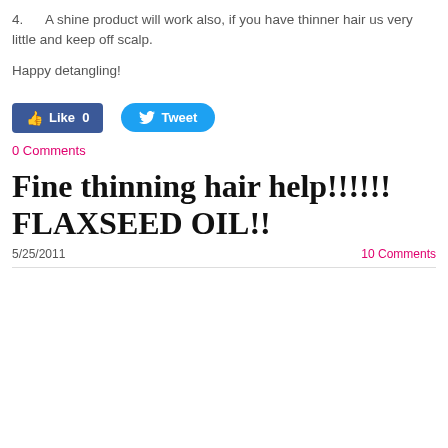4.    A shine product will work also, if you have thinner hair us very little and keep off scalp.
Happy detangling!
[Figure (other): Social media buttons: Facebook Like (0) and Twitter Tweet]
0 Comments
Fine thinning hair help!!!!!! FLAXSEED OIL!!
5/25/2011    10 Comments